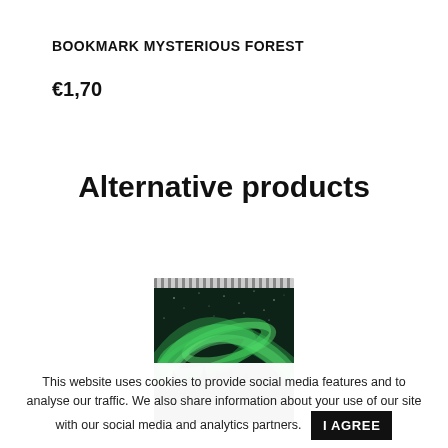BOOKMARK MYSTERIOUS FOREST
€1,70
1  To cart
Alternative products
[Figure (photo): A spiral-bound notepad with a photo of northern lights (aurora borealis) over a dark forest, night sky with stars visible.]
This website uses cookies to provide social media features and to analyse our traffic. We also share information about your use of our site with our social media and analytics partners. I AGREE